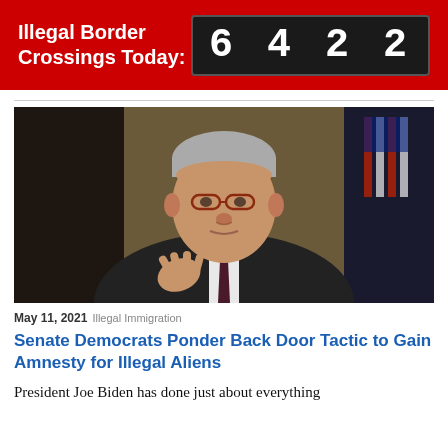Illegal Border Crossings Today: 6422
[Figure (photo): Older man with grey hair and red-framed glasses, wearing a dark suit and tie, gesturing with one hand, with an American flag visible in the background]
May 11, 2021 Illegal Immigration
Senate Democrats Ponder Back Door Tactic to Gain Amnesty for Illegal Aliens
President Joe Biden has done just about everything